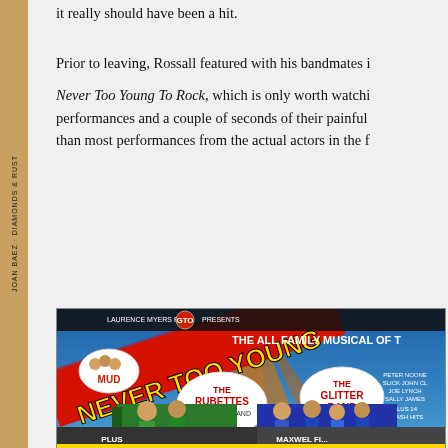it really should have been a hit.
Prior to leaving, Rossall featured with his bandmates in Never Too Young To Rock, which is only worth watching for their performances and a couple of seconds of their painful — than most performances from the actual actors in the f—
[Figure (photo): Movie poster for 'Never Too Young To Rock' — a GTO/Laurence Myers production. The poster shows colorful illustrated musicians with text including MUD, THE RUBETTES, WHOOPEE BAND, SCOTT FITZGERALD, THE GLITTER BAND, and other acts. Bold yellow and red lettering reads 'NEVER TOO YOUNG' against a blue and orange background with illustrated band performers.]